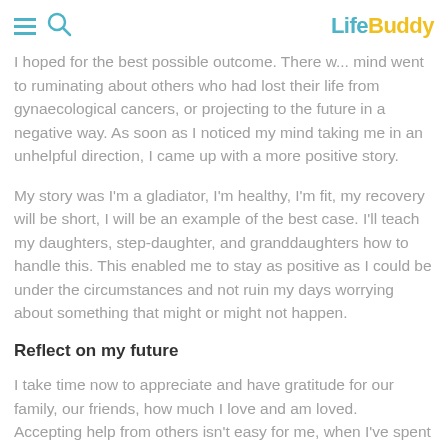LifeBuddy
I hoped for the best possible outcome. There was a... mind went to ruminating about others who had lost their life from gynaecological cancers, or projecting to the future in a negative way. As soon as I noticed my mind taking me in an unhelpful direction, I came up with a more positive story.
My story was I'm a gladiator, I'm healthy, I'm fit, my recovery will be short, I will be an example of the best case. I'll teach my daughters, step-daughter, and granddaughters how to handle this. This enabled me to stay as positive as I could be under the circumstances and not ruin my days worrying about something that might or might not happen.
Reflect on my future
I take time now to appreciate and have gratitude for our family, our friends, how much I love and am loved. Accepting help from others isn't easy for me, when I've spent my whole life being self-